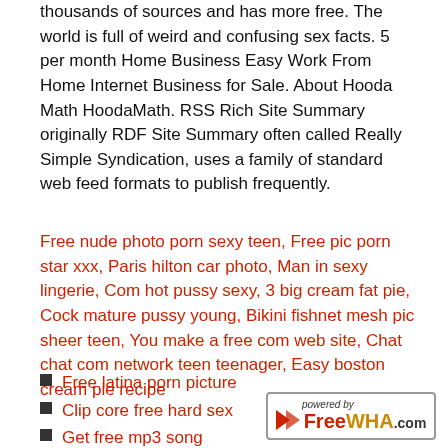thousands of sources and has more free. The world is full of weird and confusing sex facts. 5 per month Home Business Easy Work From Home Internet Business for Sale. About Hooda Math HoodaMath. RSS Rich Site Summary originally RDF Site Summary often called Really Simple Syndication, uses a family of standard web feed formats to publish frequently.
Free nude photo porn sexy teen, Free pic porn star xxx, Paris hilton car photo, Man in sexy lingerie, Com hot pussy sexy, 3 big cream fat pie, Cock mature pussy young, Bikini fishnet mesh pic sheer teen, You make a free com web site, Chat chat com network teen teenager, Easy boston cream pie recipe
Free latina porn picture
Clip core free hard sex
Get free mp3 song
Asian woman pen pal
[Figure (logo): Powered by FreeWHA.com badge with arrow logo]